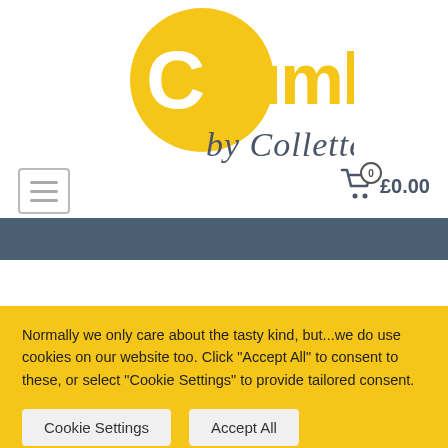[Figure (logo): Crumbs by Collette logo — yellow circle with white 'Crumbs' text and grey cursive 'by Collette' text, cookie crumbs icon]
[Figure (other): Hamburger menu icon — three horizontal lines in a rectangle border]
[Figure (other): Shopping cart icon with badge showing 0 and price £0.00]
Normally we only care about the tasty kind, but...we do use cookies on our website too. Click "Accept All" to consent to these, or select "Cookie Settings" to provide tailored consent.
Cookie Settings
Accept All